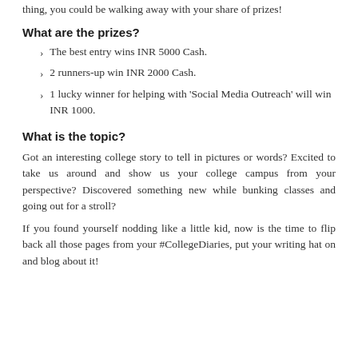thing, you could be walking away with your share of prizes!
What are the prizes?
The best entry wins INR 5000 Cash.
2 runners-up win INR 2000 Cash.
1 lucky winner for helping with 'Social Media Outreach' will win INR 1000.
What is the topic?
Got an interesting college story to tell in pictures or words? Excited to take us around and show us your college campus from your perspective? Discovered something new while bunking classes and going out for a stroll?
If you found yourself nodding like a little kid, now is the time to flip back all those pages from your #CollegeDiaries, put your writing hat on and blog about it!